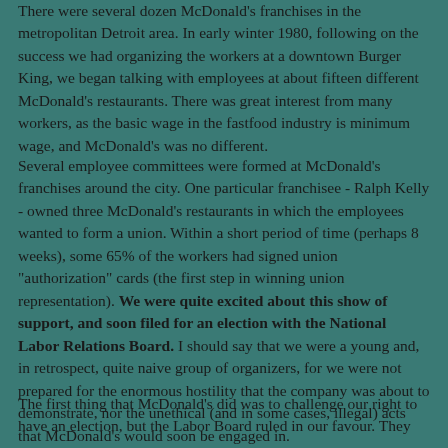There were several dozen McDonald's franchises in the metropolitan Detroit area. In early winter 1980, following on the success we had organizing the workers at a downtown Burger King, we began talking with employees at about fifteen different McDonald's restaurants. There was great interest from many workers, as the basic wage in the fastfood industry is minimum wage, and McDonald's was no different.
Several employee committees were formed at McDonald's franchises around the city. One particular franchisee - Ralph Kelly - owned three McDonald's restaurants in which the employees wanted to form a union. Within a short period of time (perhaps 8 weeks), some 65% of the workers had signed union "authorization" cards (the first step in winning union representation). We were quite excited about this show of support, and soon filed for an election with the National Labor Relations Board. I should say that we were a young and, in retrospect, quite naive group of organizers, for we were not prepared for the enormous hostility that the company was about to demonstrate, nor the unethical (and in some cases, illegal) acts that McDonald's would soon be engaged in.
The first thing that McDonald's did was to challenge our right to have an election, but the Labor Board ruled in our favour. They